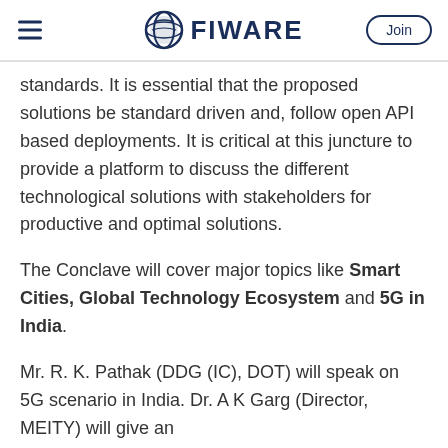FIWARE | Join
standards. It is essential that the proposed solutions be standard driven and, follow open API based deployments. It is critical at this juncture to provide a platform to discuss the different technological solutions with stakeholders for productive and optimal solutions.
The Conclave will cover major topics like Smart Cities, Global Technology Ecosystem and 5G in India.
Mr. R. K. Pathak (DDG (IC), DOT) will speak on 5G scenario in India. Dr. A K Garg (Director, MEITY) will give an